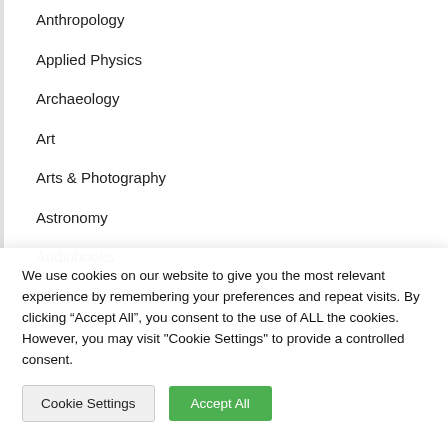Anthropology
Applied Physics
Archaeology
Art
Arts & Photography
Astronomy
Audiobooks
Biochemistry
We use cookies on our website to give you the most relevant experience by remembering your preferences and repeat visits. By clicking “Accept All”, you consent to the use of ALL the cookies. However, you may visit "Cookie Settings" to provide a controlled consent.
Cookie Settings
Accept All